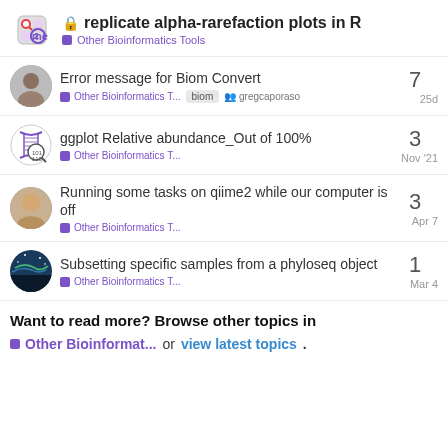replicate alpha-rarefaction plots in R — Other Bioinformatics Tools
Error message for Biom Convert — Other Bioinformatics T... — biom — gregcaporaso — 25d — 7 replies
ggplot Relative abundance_Out of 100% — Other Bioinformatics T... — Nov '21 — 3 replies
Running some tasks on qiime2 while our computer is off — Other Bioinformatics T... — Apr 7 — 3 replies
Subsetting specific samples from a phyloseq object — Other Bioinformatics T... — Mar 4 — 1 reply
Want to read more? Browse other topics in Other Bioinformat... or view latest topics.